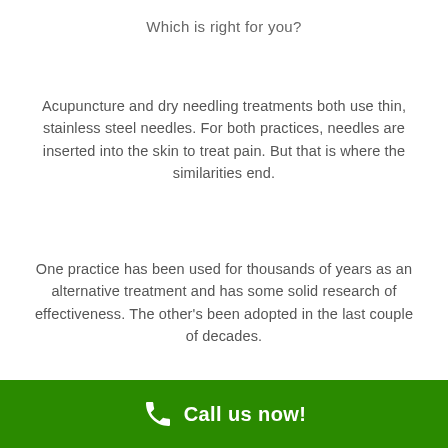Which is right for you?
Acupuncture and dry needling treatments both use thin, stainless steel needles. For both practices, needles are inserted into the skin to treat pain. But that is where the similarities end.
One practice has been used for thousands of years as an alternative treatment and has some solid research of effectiveness. The other's been adopted in the last couple of decades.
One is designed to relieve pain, discomfort,
Call us now!